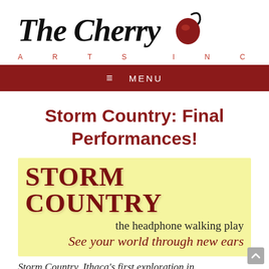[Figure (logo): The Cherry Arts Inc. logo — stylized italic script 'The Cherry' in black with a red cherry illustration, and 'ARTS INC' in spaced red capitals below]
≡  MENU
Storm Country: Final Performances!
[Figure (illustration): Storm Country promotional banner on pale yellow background. Large dark red serif text 'STORM COUNTRY', subtitle 'the headphone walking play', italic tagline 'See your world through new ears']
Storm Country, Ithaca's first exploration in